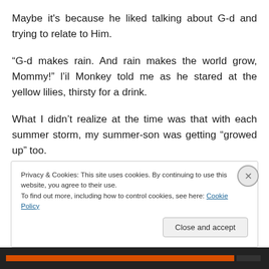Maybe it's because he liked talking about G-d and trying to relate to Him.
“G-d makes rain. And rain makes the world grow, Mommy!” l’il Monkey told me as he stared at the yellow lilies, thirsty for a drink.
What I didn’t realize at the time was that with each summer storm, my summer-son was getting “growed up” too.
Privacy & Cookies: This site uses cookies. By continuing to use this website, you agree to their use.
To find out more, including how to control cookies, see here: Cookie Policy